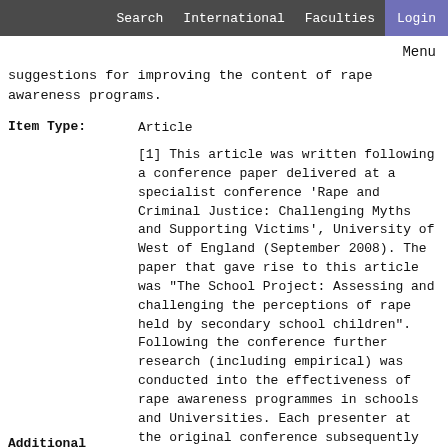Search  International  Faculties  Login
Menu
suggestions for improving the content of rape awareness programs.
| Field | Value |
| --- | --- |
| Item Type: | Article |
| Additional Information: | [1] This article was written following a conference paper delivered at a specialist conference 'Rape and Criminal Justice: Challenging Myths and Supporting Victims', University of West of England (September 2008). The paper that gave rise to this article was "The School Project: Assessing and challenging the perceptions of rape held by secondary school children". Following the conference further research (including empirical) was conducted into the effectiveness of rape awareness programmes in schools and Universities. Each presenter at the original conference subsequently contributed to a special issue of |